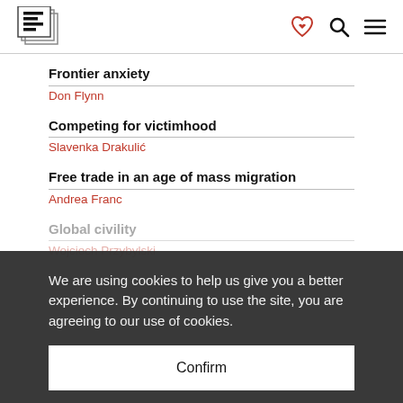Eurozine logo with navigation icons
Frontier anxiety
Don Flynn
Competing for victimhood
Slavenka Drakulić
Free trade in an age of mass migration
Andrea Franc
We are using cookies to help us give you a better experience. By continuing to use the site, you are agreeing to our use of cookies.
Confirm